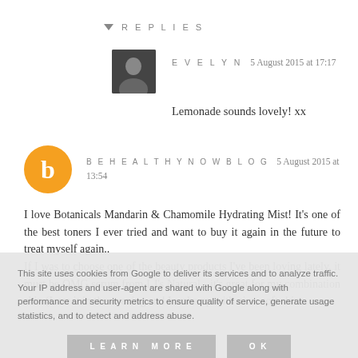REPLIES
EVELYN  5 August 2015 at 17:17
Lemonade sounds lovely! xx
BEHEALTHYNOWBLOG  5 August 2015 at 13:54
I love Botanicals Mandarin & Chamomile Hydrating Mist! It's one of the best toners I ever tried and want to buy it again in the future to treat myself again.. If I was to choose one of the beauty products I've been loving lately, it must be OMG serum from LJ's Natural - it's great for my combination skin (I use it in the evening and I wake up with nice, soft skin...
This site uses cookies from Google to deliver its services and to analyze traffic. Your IP address and user-agent are shared with Google along with performance and security metrics to ensure quality of service, generate usage statistics, and to detect and address abuse.
LEARN MORE
OK